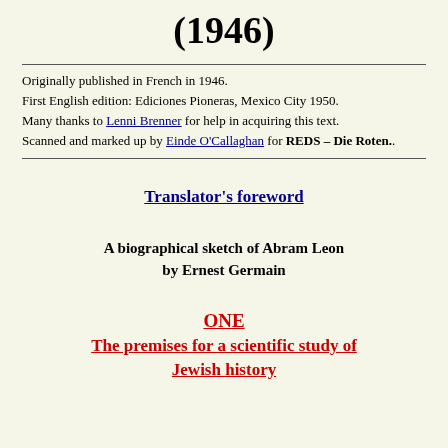(1946)
Originally published in French in 1946.
First English edition: Ediciones Pioneras, Mexico City 1950.
Many thanks to Lenni Brenner for help in acquiring this text.
Scanned and marked up by Einde O'Callaghan for REDS – Die Roten..
Translator's foreword
A biographical sketch of Abram Leon
by Ernest Germain
ONE
The premises for a scientific study of Jewish history